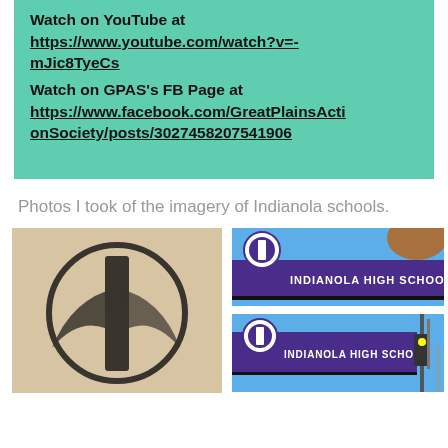Watch on YouTube at https://www.youtube.com/watch?v=-mJic8TyeCs Watch on GPAS's FB Page at https://www.facebook.com/GreatPlainsActionSociety/posts/3027458207541906
Photos I took of the imagery of Indianola schools.
[Figure (photo): Close-up of an Indianola Indians logo — a stylized letter I with a Native American profile, on a beige/tan stone background, rendered in black.]
[Figure (photo): Indianola High School sign — purple sign with white text reading INDIANOLA HIGH SCHOOL and the circular I logo, blue sky background.]
[Figure (photo): Another Indianola High School sign — purple sign with white text reading INDIANOLA HIGH SCHOOL and the circular I logo, with yellow traffic signal visible, blue sky background.]